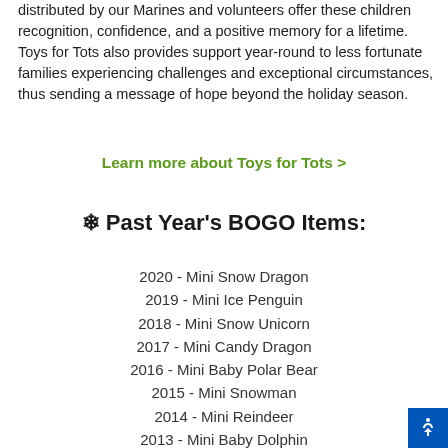distributed by our Marines and volunteers offer these children recognition, confidence, and a positive memory for a lifetime. Toys for Tots also provides support year-round to less fortunate families experiencing challenges and exceptional circumstances, thus sending a message of hope beyond the holiday season.
Learn more about Toys for Tots >
❄ Past Year's BOGO Items:
2020 - Mini Snow Dragon
2019 - Mini Ice Penguin
2018 - Mini Snow Unicorn
2017 - Mini Candy Dragon
2016 - Mini Baby Polar Bear
2015 - Mini Snowman
2014 - Mini Reindeer
2013 - Mini Baby Dolphin
2012 - Mini Penguin Chick